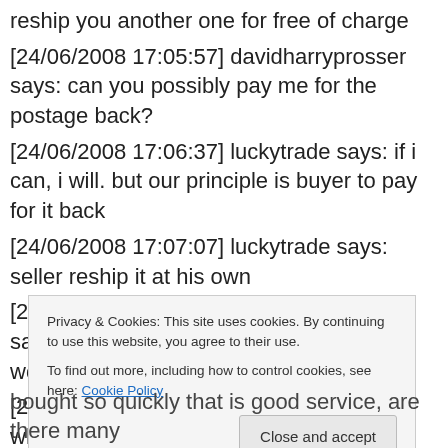reship you another one for free of charge
[24/06/2008 17:05:57] davidharryprosser says: can you possibly pay me for the postage back?
[24/06/2008 17:06:37] luckytrade says: if i can, i will. but our principle is buyer to pay for it back
[24/06/2008 17:07:07] luckytrade says: seller reship it at his own
[24/06/2008 17:07:30] davidharryprosser says: but it is not my problem it is not working
[24/06/2008 17:08:48] luckytrade says: what about i share it with you?
Privacy & Cookies: This site uses cookies. By continuing to use this website, you agree to their use. To find out more, including how to control cookies, see here: Cookie Policy
bought so quickly that is good service, are there many